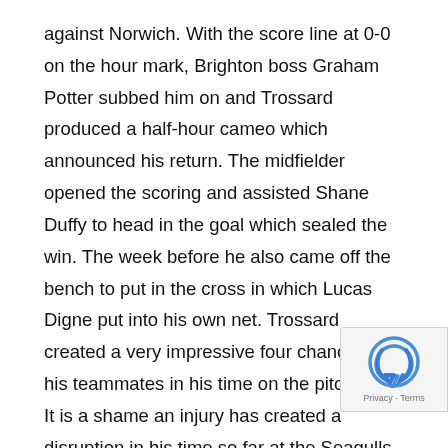against Norwich. With the score line at 0-0 on the hour mark, Brighton boss Graham Potter subbed him on and Trossard produced a half-hour cameo which announced his return. The midfielder opened the scoring and assisted Shane Duffy to head in the goal which sealed the win. The week before he also came off the bench to put in the cross in which Lucas Digne put into his own net. Trossard created a very impressive four chances for his teammates in his time on the pitch too. It is a shame an injury has created a disruption in his time so far at the Seagulls, he is such a talented player and was in my squad from Gameweek one. Brighton do have some tricky games coming up, but they do look a lot more threatening this season and with Trossard back up to speed it just makes it even more enticing given his price at 5.8M. He is an easy swap with